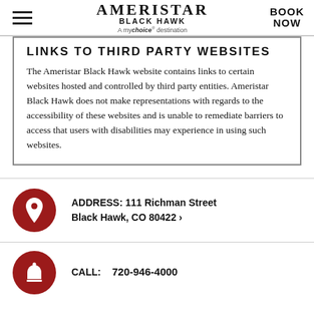AMERISTAR BLACK HAWK — A mychoice destination | BOOK NOW
LINKS TO THIRD PARTY WEBSITES
The Ameristar Black Hawk website contains links to certain websites hosted and controlled by third party entities. Ameristar Black Hawk does not make representations with regards to the accessibility of these websites and is unable to remediate barriers to access that users with disabilities may experience in using such websites.
ADDRESS: 111 Richman Street Black Hawk, CO 80422 ›
CALL: 720-946-4000